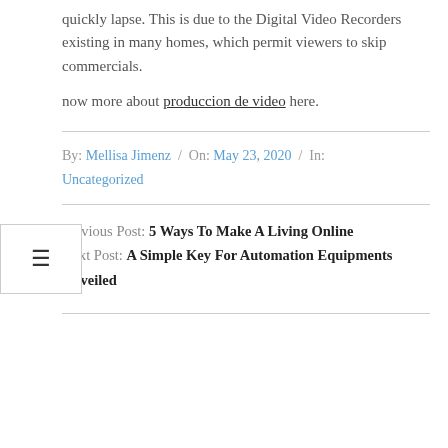quickly lapse. This is due to the Digital Video Recorders existing in many homes, which permit viewers to skip commercials.
Know more about produccion de video here.
By: Mellisa Jimenz / On: May 23, 2020 / In: Uncategorized
Previous Post: 5 Ways To Make A Living Online
Next Post: A Simple Key For Automation Equipments Unveiled